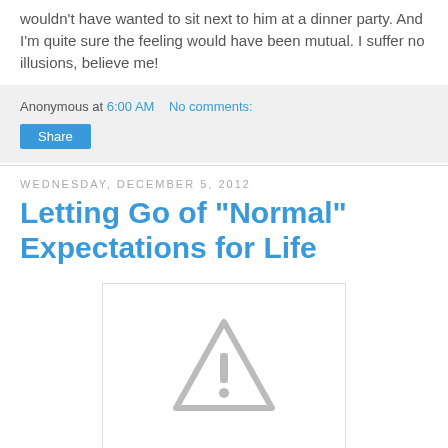wouldn't have wanted to sit next to him at a dinner party. And I'm quite sure the feeling would have been mutual. I suffer no illusions, believe me!
Anonymous at 6:00 AM    No comments:
Share
Wednesday, December 5, 2012
Letting Go of "Normal" Expectations for Life
[Figure (illustration): Image placeholder with warning/caution triangle icon (grey triangle with exclamation mark)]